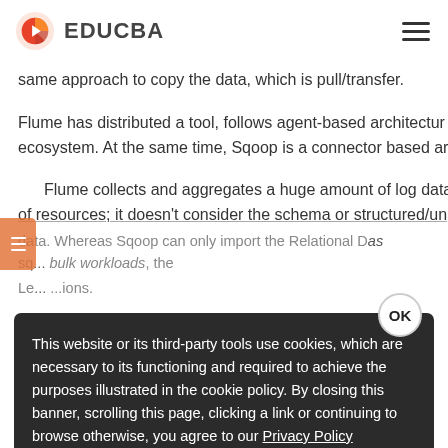EDUCBA
same approach to copy the data, which is pull/transfer.
Flume has distributed a tool, follows agent-based architecture ecosystem. At the same time, Sqoop is a connector based ar
Flume collects and aggregates a huge amount of log data. Flu of resources; it doesn't consider the schema or structured/un
data. Whereas Sqoop can only import the Relational D as sq... bulk workloads, the
Le... ...ions.
This website or its third-party tools use cookies, which are necessary to its functioning and required to achieve the purposes illustrated in the cookie policy. By closing this banner, scrolling this page, clicking a link or continuing to browse otherwise, you agree to our Privacy Policy
10. What are the data sources suppor